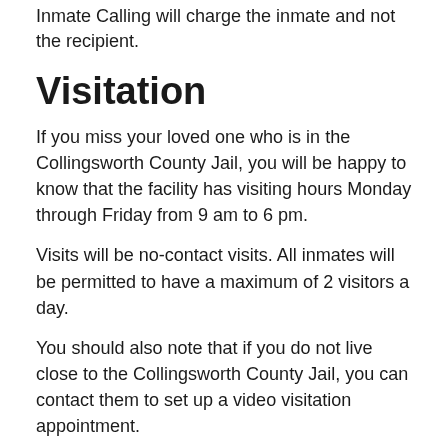Inmate Calling will charge the inmate and not the recipient.
Visitation
If you miss your loved one who is in the Collingsworth County Jail, you will be happy to know that the facility has visiting hours Monday through Friday from 9 am to 6 pm.
Visits will be no-contact visits. All inmates will be permitted to have a maximum of 2 visitors a day.
You should also note that if you do not live close to the Collingsworth County Jail, you can contact them to set up a video visitation appointment.
Visiting Hours
Monday: 7:30 AM to 9:00 PM